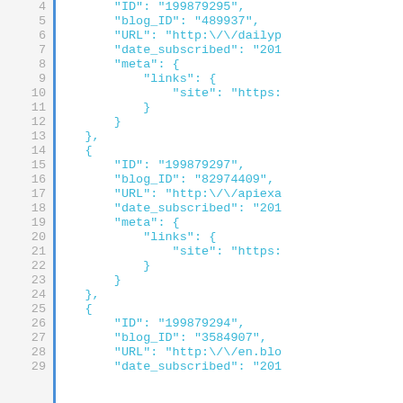Code listing showing JSON data with line numbers 4-28+, displaying blog subscription records with fields: ID, blog_ID, URL, date_subscribed, meta/links/site